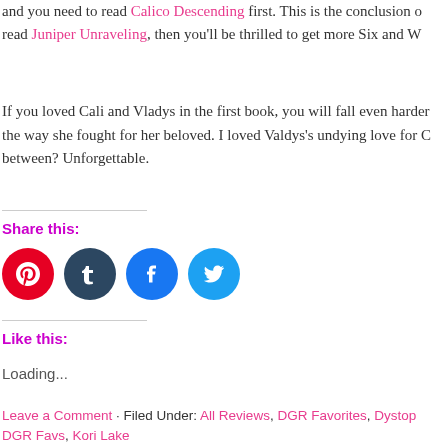and you need to read Calico Descending first. This is the conclusion o... read Juniper Unraveling, then you'll be thrilled to get more Six and W...
If you loved Cali and Vladys in the first book, you will fall even harder... the way she fought for her beloved. I loved Valdys's undying love for C... between? Unforgettable.
Share this:
[Figure (infographic): Four social media icon circles: Pinterest (red), Tumblr (dark blue), Facebook (blue), Twitter (light blue)]
Like this:
Loading...
Leave a Comment · Filed Under: All Reviews, DGR Favorites, Dystop... DGR Favs, Kori Lake